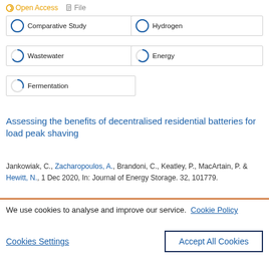Open Access   File
Comparative Study
Hydrogen
Wastewater
Energy
Fermentation
Assessing the benefits of decentralised residential batteries for load peak shaving
Jankowiak, C., Zacharopoulos, A., Brandoni, C., Keatley, P., MacArtain, P. & Hewitt, N., 1 Dec 2020, In: Journal of Energy Storage. 32, 101779.
We use cookies to analyse and improve our service.  Cookie Policy
Cookies Settings
Accept All Cookies